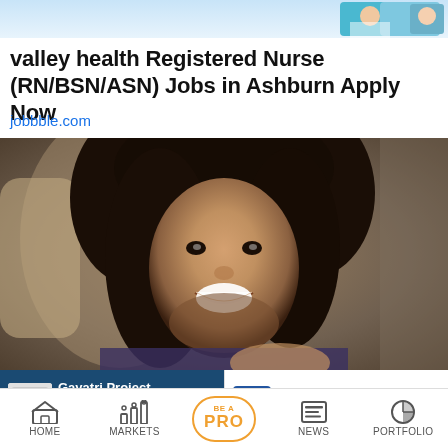[Figure (photo): Advertisement banner with nurses/medical imagery at top (partially visible)]
valley health Registered Nurse (RN/BSN/ASN) Jobs in Ashburn Apply Now
jobbble.com
[Figure (photo): Photo of a smiling young man with curly dark hair inside what appears to be an aircraft interior]
Gayatri Project Consolidated March 2022 Net Sales and D...
CIDCO gets bids worth Rs 678 ...
HOME | MARKETS | BE A PRO | NEWS | PORTFOLIO